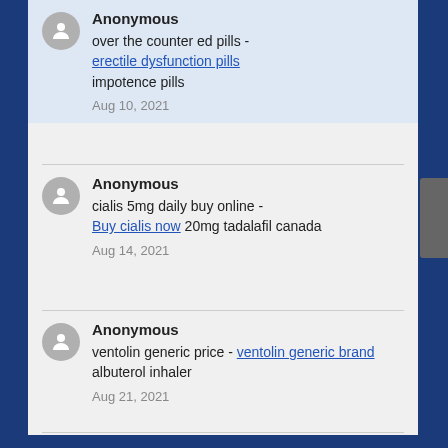Anonymous
over the counter ed pills - erectile dysfunction pills impotence pills
Aug 10, 2021
Anonymous
cialis 5mg daily buy online - Buy cialis now 20mg tadalafil canada
Aug 14, 2021
Anonymous
ventolin generic price - ventolin generic brand albuterol inhaler
Aug 21, 2021